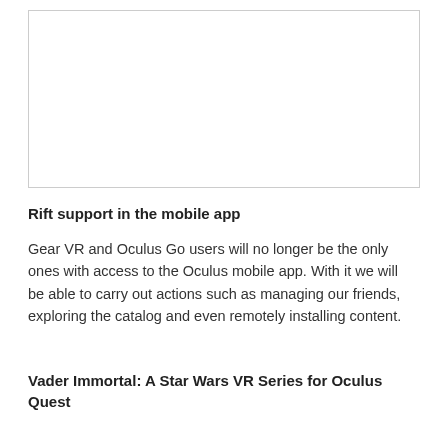[Figure (other): Empty white image box with a light gray border]
Rift support in the mobile app
Gear VR and Oculus Go users will no longer be the only ones with access to the Oculus mobile app. With it we will be able to carry out actions such as managing our friends, exploring the catalog and even remotely installing content.
Vader Immortal: A Star Wars VR Series for Oculus Quest